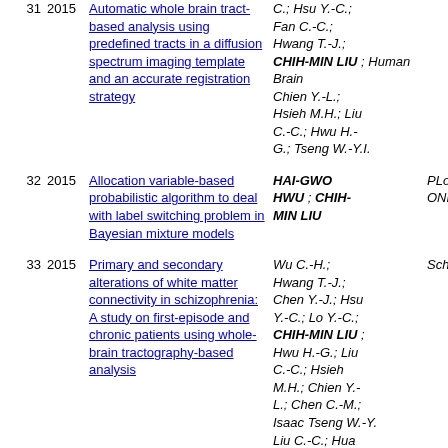| # | Year | Title | Authors | Journal |
| --- | --- | --- | --- | --- |
| 31 | 2015 | Automatic whole brain tract-based analysis using predefined tracts in a diffusion spectrum imaging template and an accurate registration strategy | C.; Hsu Y.-C.; Fan C.-C.; Hwang T.-J.; CHIH-MIN LIU ; Chien Y.-L.; Hsieh M.H.; Liu C.-C.; Hwu H.-G.; Tseng W.-Y.I. | Human Brain |
| 32 | 2015 | Allocation variable-based probabilistic algorithm to deal with label switching problem in Bayesian mixture models | HAI-GWO HWU ; CHIH-MIN LIU | PLoS ONE |
| 33 | 2015 | Primary and secondary alterations of white matter connectivity in schizophrenia: A study on first-episode and chronic patients using whole-brain tractography-based analysis | Wu C.-H.; Hwang T.-J.; Chen Y.-J.; Hsu Y.-C.; Lo Y.-C.; CHIH-MIN LIU ; Hwu H.-G.; Liu C.-C.; Hsieh M.H.; Chien Y.-L.; Chen C.-M.; Isaac Tseng W.-Y. Liu C.-C.; Hua | Schizophrenia |